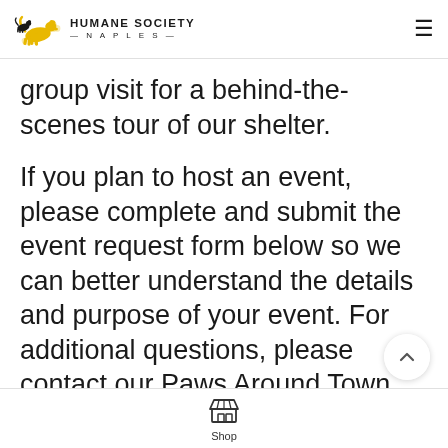HUMANE SOCIETY NAPLES
group visit for a behind-the-scenes tour of our shelter.
If you plan to host an event, please complete and submit the event request form below so we can better understand the details and purpose of your event. For additional questions, please contact our Paws Around Town Coordinator at pawsaroundtown@hsnaples.org or (239) 241-7327.
Shop